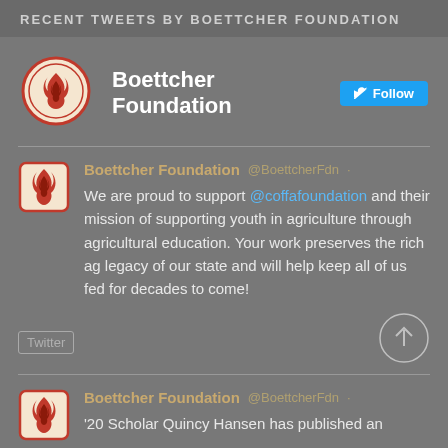RECENT TWEETS BY BOETTCHER FOUNDATION
[Figure (logo): Boettcher Foundation circular logo with flame icon, red border on cream background]
Boettcher Foundation Follow
[Figure (logo): Boettcher Foundation square logo with flame icon, red border on cream background]
Boettcher Foundation @BoettcherFdn · We are proud to support @coffafoundation and their mission of supporting youth in agriculture through agricultural education. Your work preserves the rich ag legacy of our state and will help keep all of us fed for decades to come!
Twitter
[Figure (logo): Boettcher Foundation square logo with flame icon, red border on cream background]
Boettcher Foundation @BoettcherFdn · '20 Scholar Quincy Hansen has published an